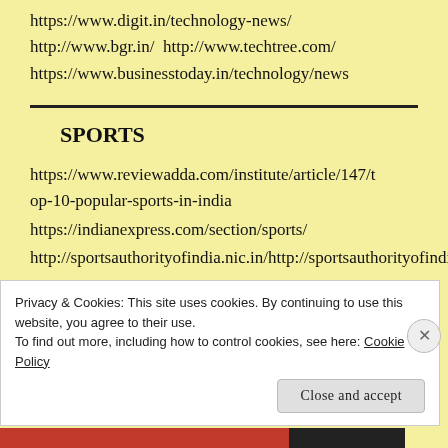https://www.digit.in/technology-news/
http://www.bgr.in/  http://www.techtree.com/
https://www.businesstoday.in/technology/news
SPORTS
https://www.reviewadda.com/institute/article/147/top-10-popular-sports-in-india
https://indianexpress.com/section/sports/
http://sportsauthorityofindia.nic.in/
Privacy & Cookies: This site uses cookies. By continuing to use this website, you agree to their use.
To find out more, including how to control cookies, see here: Cookie Policy